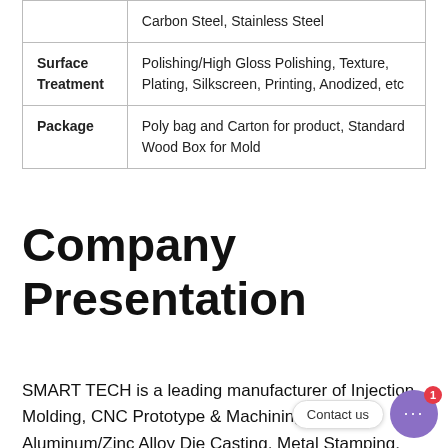|  | Carbon Steel, Stainless Steel |
| Surface Treatment | Polishing/High Gloss Polishing, Texture, Plating, Silkscreen, Printing, Anodized, etc |
| Package | Poly bag and Carton for product, Standard Wood Box for Mold |
Company Presentation
SMART TECH is a leading manufacturer of Injection Molding, CNC Prototype & Machining, Aluminum/Zinc Alloy Die Casting, Metal Stamping, Laser